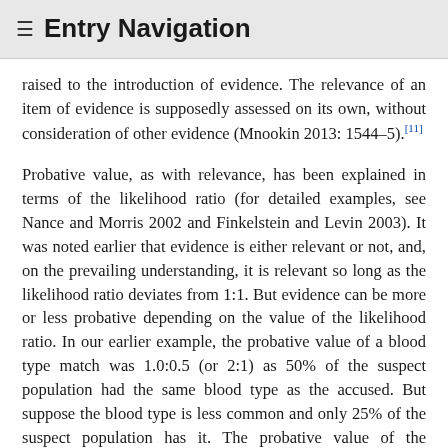≡ Entry Navigation
raised to the introduction of evidence. The relevance of an item of evidence is supposedly assessed on its own, without consideration of other evidence (Mnookin 2013: 1544–5).[11]
Probative value, as with relevance, has been explained in terms of the likelihood ratio (for detailed examples, see Nance and Morris 2002 and Finkelstein and Levin 2003). It was noted earlier that evidence is either relevant or not, and, on the prevailing understanding, it is relevant so long as the likelihood ratio deviates from 1:1. But evidence can be more or less probative depending on the value of the likelihood ratio. In our earlier example, the probative value of a blood type match was 1.0:0.5 (or 2:1) as 50% of the suspect population had the same blood type as the accused. But suppose the blood type is less common and only 25% of the suspect population has it. The probative value of the evidence is now 1.0:0.25 (or 4:1). In both cases, the evidence is relevant; but the probative value is greater in the latter than in the former scenario. It is